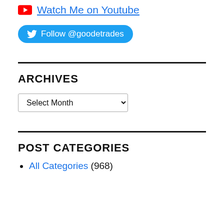Watch Me on Youtube
Follow @goodetrades
ARCHIVES
Select Month
POST CATEGORIES
All Categories (968)